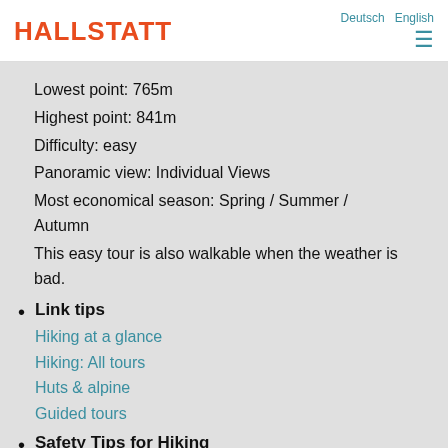HALLSTATT | Deutsch  English
Lowest point: 765m
Highest point: 841m
Difficulty: easy
Panoramic view: Individual Views
Most economical season: Spring / Summer / Autumn
This easy tour is also walkable when the weather is bad.
Link tips
Hiking at a glance
Hiking: All tours
Huts & alpine
Guided tours
Safety Tips for Hiking
The best tips for tour preparation, equipment and emergency situations while hiking in the UNESCO